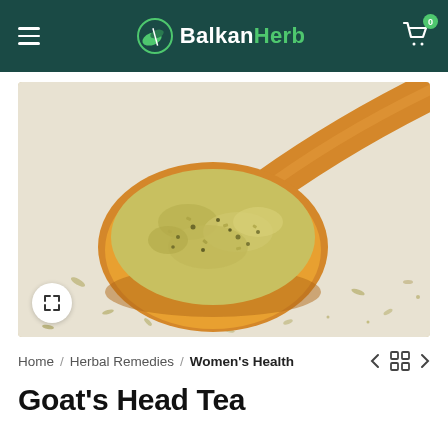BalkanHerb
[Figure (photo): An orange wooden spoon filled with dried herb powder (goat's head tea), placed on a white surface scattered with herb fragments.]
Home / Herbal Remedies / Women's Health
Goat's Head Tea